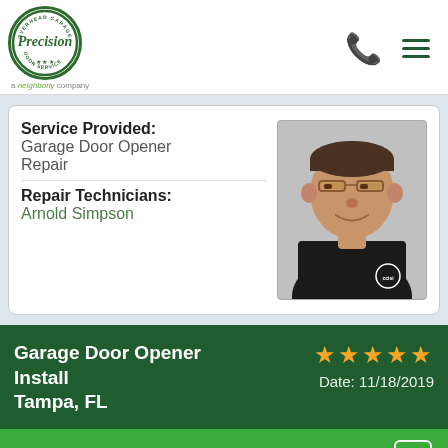[Figure (logo): Precision Overhead Garage Door Service logo - circular green badge with 'Precision' text, and 'a neighborly company' tagline below]
Service Provided:
Garage Door Opener Repair
Repair Technicians:
Arnold Simpson
[Figure (photo): Photo of male technician Arnold Simpson wearing black Precision Door Service polo shirt, glasses, smiling against gray background]
Garage Door Opener Install
Tampa, FL
★★★★★
Date: 11/18/2019
Chat now